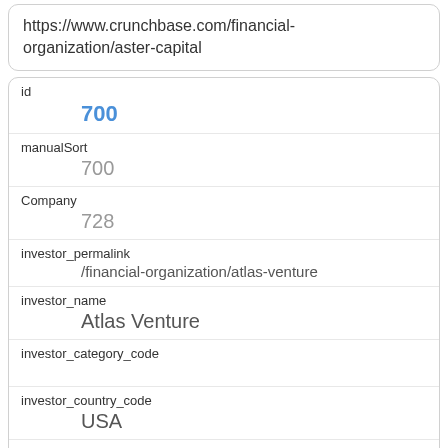https://www.crunchbase.com/financial-organization/aster-capital
| field | value |
| --- | --- |
| id | 700 |
| manualSort | 700 |
| Company | 728 |
| investor_permalink | /financial-organization/atlas-venture |
| investor_name | Atlas Venture |
| investor_category_code |  |
| investor_country_code | USA |
| investor_state_code | MA |
| investor_region |  |